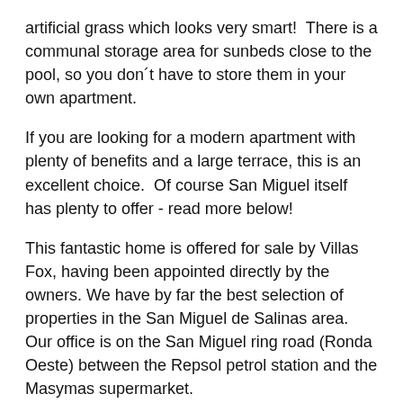artificial grass which looks very smart!  There is a communal storage area for sunbeds close to the pool, so you don´t have to store them in your own apartment.
If you are looking for a modern apartment with plenty of benefits and a large terrace, this is an excellent choice.  Of course San Miguel itself has plenty to offer - read more below!
This fantastic home is offered for sale by Villas Fox, having been appointed directly by the owners. We have by far the best selection of properties in the San Miguel de Salinas area. Our office is on the San Miguel ring road (Ronda Oeste) between the Repsol petrol station and the Masymas supermarket.
San Miguel de Salinas